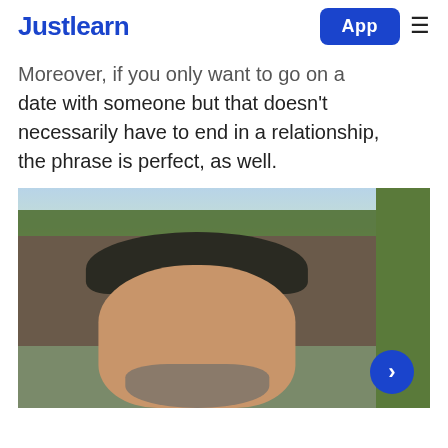Justlearn | App
Moreover, if you only want to go on a date with someone but that doesn't necessarily have to end in a relationship, the phrase is perfect, as well.
[Figure (photo): Selfie of a middle-aged man with a dark baseball cap and beard, photographed outdoors with trees and rocks in the background. A blue circular next arrow button appears in the bottom right corner.]